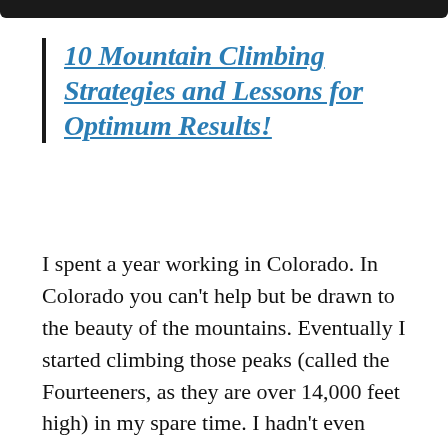10 Mountain Climbing Strategies and Lessons for Optimum Results!
I spent a year working in Colorado. In Colorado you can't help but be drawn to the beauty of the mountains. Eventually I started climbing those peaks (called the Fourteeners, as they are over 14,000 feet high) in my spare time. I hadn't even thought about Mount Kilimanjaro